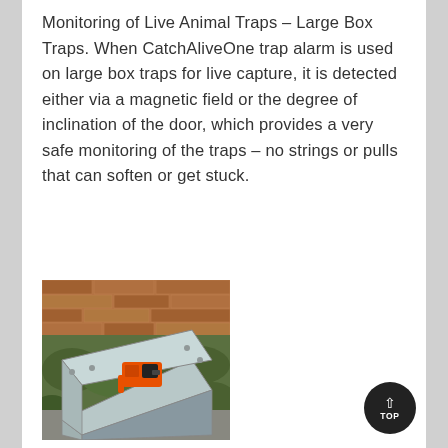Monitoring of Live Animal Traps – Large Box Traps. When CatchAliveOne trap alarm is used on large box traps for live capture, it is detected either via a magnetic field or the degree of inclination of the door, which provides a very safe monitoring of the traps – no strings or pulls that can soften or get stuck.
[Figure (photo): Photo of a metal live animal box trap open, with an orange CatchAliveOne alarm device visible inside, placed on a stone surface near a brick wall with green plants.]